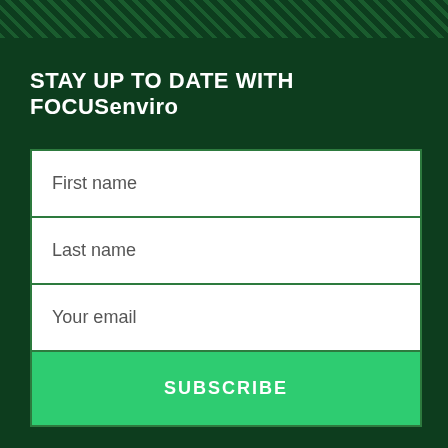STAY UP TO DATE WITH FOCUSenviro
First name
Last name
Your email
SUBSCRIBE